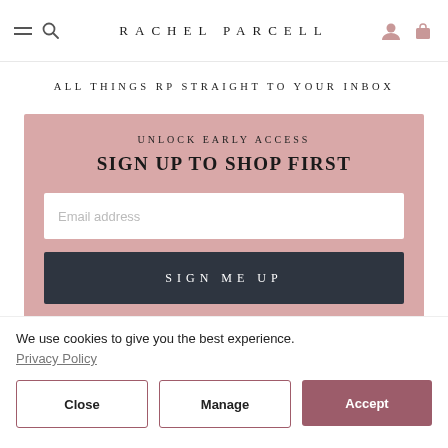RACHEL PARCELL
ALL THINGS RP STRAIGHT TO YOUR INBOX
UNLOCK EARLY ACCESS SIGN UP TO SHOP FIRST
Email address
SIGN ME UP
We use cookies to give you the best experience.
Privacy Policy
Close
Manage
Accept